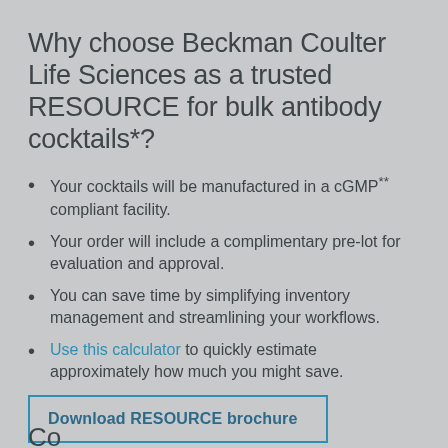Why choose Beckman Coulter Life Sciences as a trusted RESOURCE for bulk antibody cocktails*?
Your cocktails will be manufactured in a cGMP** compliant facility.
Your order will include a complimentary pre-lot for evaluation and approval.
You can save time by simplifying inventory management and streamlining your workflows.
Use this calculator to quickly estimate approximately how much you might save.
Download RESOURCE brochure
Co...